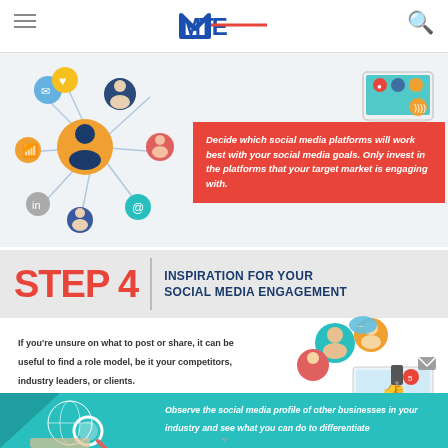MTE (logo), hamburger menu, search icon
[Figure (infographic): Social network node diagram with person icons connected by lines, and a laptop with social media icons in top right]
Decide which social media platforms will work best with your social media goals. Only invest in the platforms that your target market is engaging with.
STEP 4   INSPIRATION FOR YOUR SOCIAL MEDIA ENGAGEMENT
If you're unsure on what to post or share, it can be useful to find a role model, be it your competitors, industry leaders, or clients.
[Figure (infographic): Group of people avatar icons floating above a laptop screen with a thumbs up icon]
Observe the social media profile of other businesses in your industry and see what you can do to differentiate